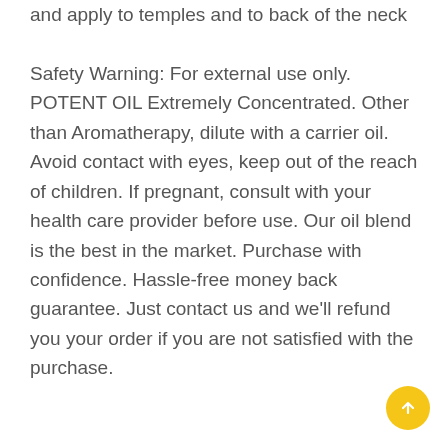and apply to temples and to back of the neck Safety Warning: For external use only. POTENT OIL Extremely Concentrated. Other than Aromatherapy, dilute with a carrier oil. Avoid contact with eyes, keep out of the reach of children. If pregnant, consult with your health care provider before use. Our oil blend is the best in the market. Purchase with confidence. Hassle-free money back guarantee. Just contact us and we'll refund you your order if you are not satisfied with the purchase.